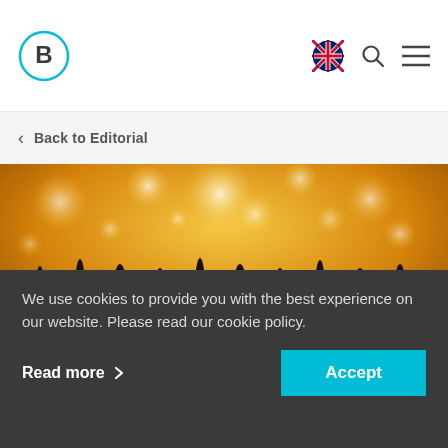B (logo)
Back to Editorial
[Figure (photo): Concert crowd with raised hands silhouetted against warm golden stage lights with bokeh effect]
Hot spots for the cool crowd.
We use cookies to provide you with the best experience on our website. Please read our cookie policy.
Read more >
Accept